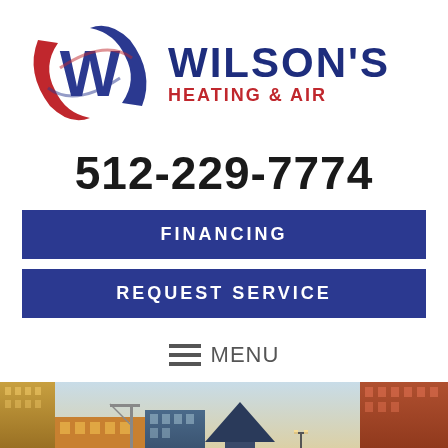[Figure (logo): Wilson's Heating & Air logo with stylized W and swoosh in blue and red, company name to the right]
512-229-7774
FINANCING
REQUEST SERVICE
MENU
[Figure (photo): Cityscape photo of Austin TX skyline with buildings and construction cranes at dusk/sunset]